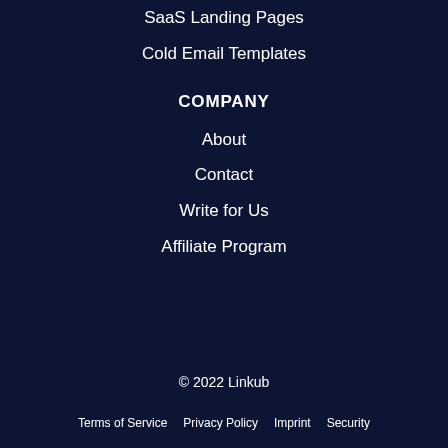SaaS Landing Pages
Cold Email Templates
COMPANY
About
Contact
Write for Us
Affiliate Program
© 2022 Linkub
Terms of Service  Privacy Policy  Imprint  Security